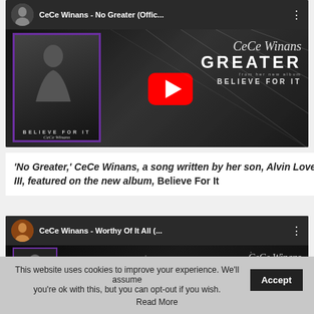[Figure (screenshot): YouTube video thumbnail for CeCe Winans - No Greater (Official...) showing a woman singing with CeCe Winans GREATER Believe For It album branding, YouTube play button in center]
'No Greater,' CeCe Winans, a song written by her son, Alvin Love III, featured on the new album, Believe For It
[Figure (screenshot): YouTube video thumbnail for CeCe Winans - Worthy Of It All (... showing artist photo with CeCe Winans script text]
This website uses cookies to improve your experience. We'll assume you're ok with this, but you can opt-out if you wish. Accept Read More